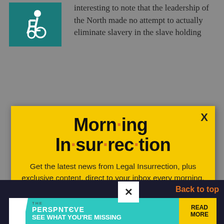[Figure (illustration): Wheelchair accessibility icon in teal/dark teal square background, top-left corner]
interesting to note that the leadership of the North made no attempt to actually eliminate slavery in the slave holding
[Figure (infographic): Yellow popup modal for Morning Insurrection newsletter signup. Title reads 'Morn·ing In·sur·rec·tion' with orange dots as bullets. Body text: 'Get the latest news from Legal Insurrection, plus exclusive content, direct to your inbox every morning. Subscribe today – it’s free!' Orange 'JOIN NOW' button with envelope icon. X close button top right.]
[Figure (infographic): Bottom advertisement bar for 'The Perspective' showing 'SEE WHAT YOU'RE MISSING' with READ MORE button on yellow background. White X close button. Back to top link in orange on right.]